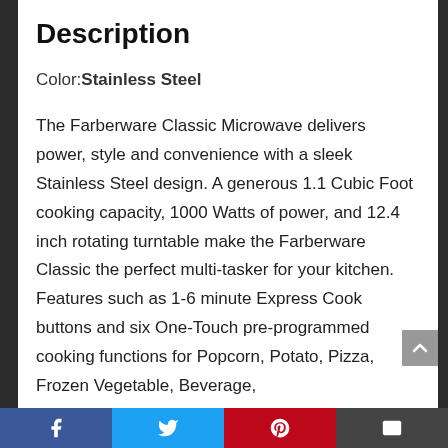Description
Color: Stainless Steel
The Farberware Classic Microwave delivers power, style and convenience with a sleek Stainless Steel design. A generous 1.1 Cubic Foot cooking capacity, 1000 Watts of power, and 12.4 inch rotating turntable make the Farberware Classic the perfect multi-tasker for your kitchen. Features such as 1-6 minute Express Cook buttons and six One-Touch pre-programmed cooking functions for Popcorn, Potato, Pizza, Frozen Vegetable, Beverage,
Facebook | Twitter | Pinterest | Email